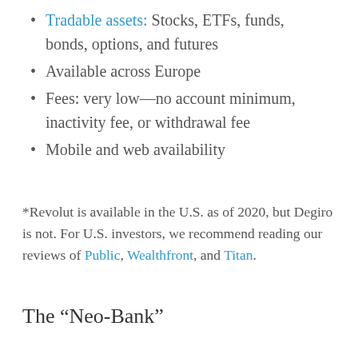Tradable assets: Stocks, ETFs, funds, bonds, options, and futures
Available across Europe
Fees: very low—no account minimum, inactivity fee, or withdrawal fee
Mobile and web availability
*Revolut is available in the U.S. as of 2020, but Degiro is not. For U.S. investors, we recommend reading our reviews of Public, Wealthfront, and Titan.
The “Neo-Bank”
Revolut markets itself as more than just a stock trading app. It’s a global bank, too.